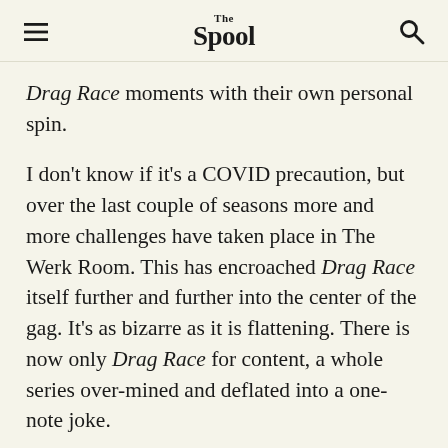The Spool
Drag Race moments with their own personal spin.
I don't know if it's a COVID precaution, but over the last couple of seasons more and more challenges have taken place in The Werk Room. This has encroached Drag Race itself further and further into the center of the gag. It's as bizarre as it is flattening. There is now only Drag Race for content, a whole series over-mined and deflated into a one-note joke.
Dynamics are a key component of Ru's acting challenges. The seasons have enjoyed debating